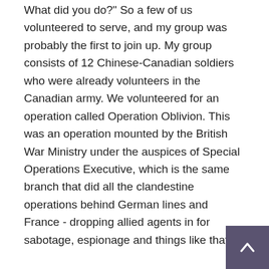"What did you do?" So a few of us volunteered to serve, and my group was probably the first to join up. My group consists of 12 Chinese-Canadian soldiers who were already volunteers in the Canadian army. We volunteered for an operation called Operation Oblivion. This was an operation mounted by the British War Ministry under the auspices of Special Operations Executive, which is the same branch that did all the clandestine operations behind German lines and France - dropping allied agents in for sabotage, espionage and things like that.
Our operation was for the Southwest Pacific, and I was at Pacific Command here in Vancouver during the war in the